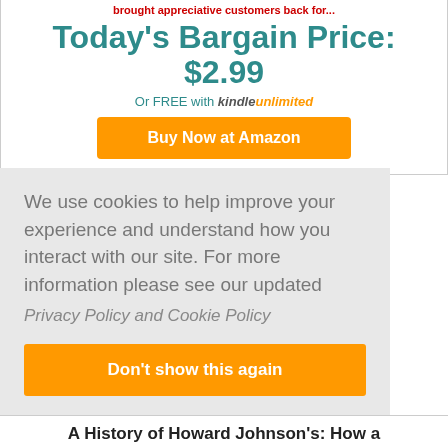brought appreciative customers back for...
Today's Bargain Price: $2.99
Or FREE with Kindle Unlimited
Buy Now at Amazon
Supports BookGorilla with Commissions Earned
Categories: All Business, Investing and Leadership
We use cookies to help improve your experience and understand how you interact with our site. For more information please see our updated
Privacy Policy and Cookie Policy
Don't show this again
A History of Howard Johnson's: How a